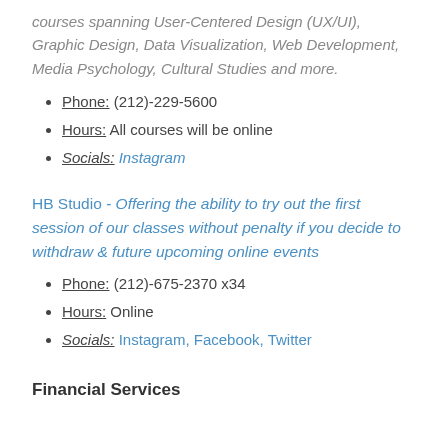courses spanning User-Centered Design (UX/UI), Graphic Design, Data Visualization, Web Development, Media Psychology, Cultural Studies and more.
Phone: (212)-229-5600
Hours: All courses will be online
Socials: Instagram
HB Studio - Offering the ability to try out the first session of our classes without penalty if you decide to withdraw & future upcoming online events
Phone: (212)-675-2370 x34
Hours: Online
Socials: Instagram, Facebook, Twitter
Financial Services